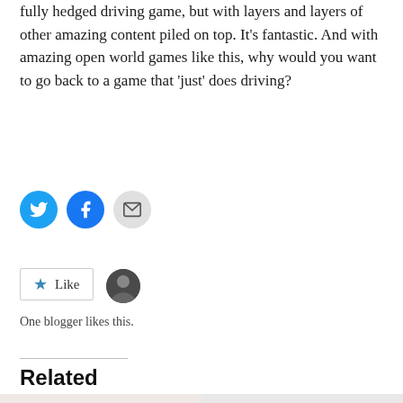fully hedged driving game, but with layers and layers of other amazing content piled on top. It's fantastic. And with amazing open world games like this, why would you want to go back to a game that 'just' does driving?
[Figure (other): Social share buttons: Twitter (blue circle), Facebook (blue circle), Email (grey circle)]
[Figure (other): Like button with star icon and small avatar photo. Text: One blogger likes this.]
One blogger likes this.
Related
[Figure (photo): Related article image showing a red/maroon joystick on a light background]
[Figure (logo): Related article image showing Milestone logo (red hexagon shape with white text MILESTONE)]